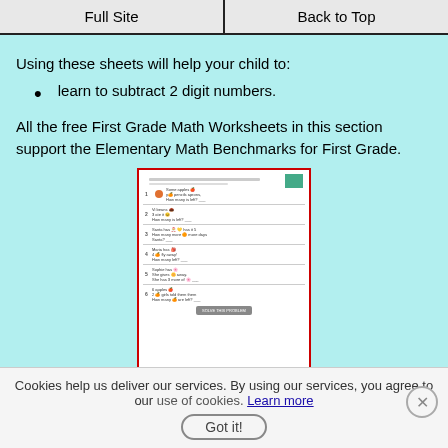Full Site | Back to Top
Using these sheets will help your child to:
learn to subtract 2 digit numbers.
All the free First Grade Math Worksheets in this section support the Elementary Math Benchmarks for First Grade.
[Figure (illustration): Thumbnail preview of a 1st Grade Subtraction Word Problems worksheet with red border]
1st Grade Subtraction Word Problems
[Figure (illustration): Partial thumbnail preview of another worksheet with red border]
Cookies help us deliver our services. By using our services, you agree to our use of cookies. Learn more
Got it!